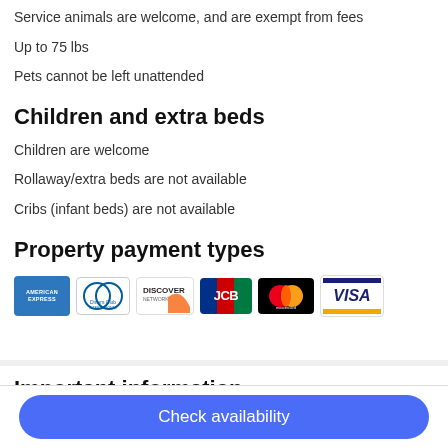Service animals are welcome, and are exempt from fees
Up to 75 lbs
Pets cannot be left unattended
Children and extra beds
Children are welcome
Rollaway/extra beds are not available
Cribs (infant beds) are not available
Property payment types
[Figure (logo): Payment logos: American Express, Diners Club International, Discover Network, JCB, Mastercard, Visa]
Important information
Check availability